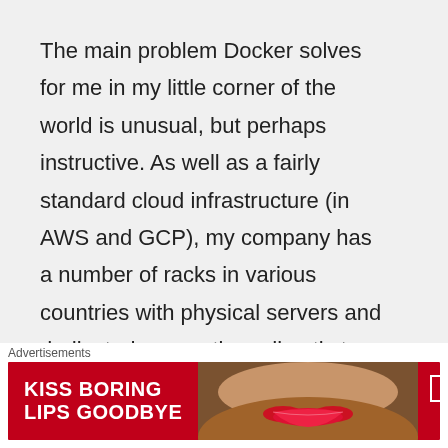The main problem Docker solves for me in my little corner of the world is unusual, but perhaps instructive. As well as a fairly standard cloud infrastructure (in AWS and GCP), my company has a number of racks in various countries with physical servers and dedicated connections directly to other companies in those racks. Applications are partitioned by whom they talk to: applications A1 and A2 talk to company A over a dedicated link, application B1 talks to company B over a separate dedicated link, and so on. It's considerably easier and
Advertisements
[Figure (photo): Advertisement banner for Macy's lipstick promotion. Red background with white bold text reading 'KISS BORING LIPS GOODBYE', a woman's face showing lips with red lipstick in the center, and on the right a 'SHOP NOW' button with Macy's star logo.]